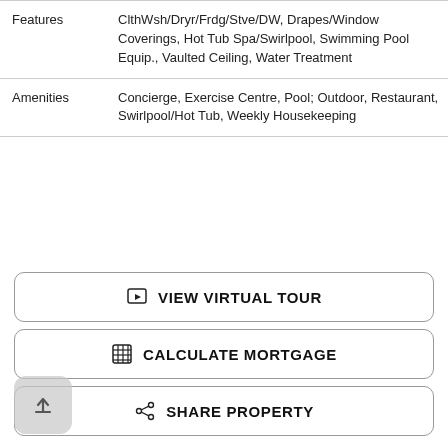|  |  |
| --- | --- |
| Features | ClthWsh/Dryr/Frdg/Stve/DW, Drapes/Window Coverings, Hot Tub Spa/Swirlpool, Swimming Pool Equip., Vaulted Ceiling, Water Treatment |
| Amenities | Concierge, Exercise Centre, Pool; Outdoor, Restaurant, Swirlpool/Hot Tub, Weekly Housekeeping |
VIEW VIRTUAL TOUR
CALCULATE MORTGAGE
SHARE PROPERTY